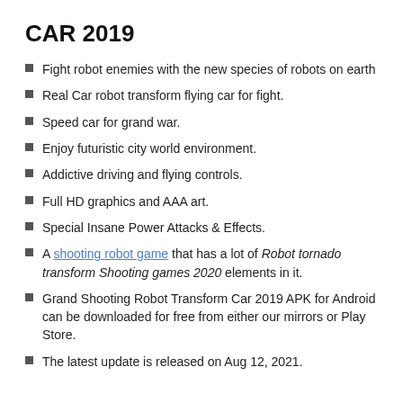CAR 2019
Fight robot enemies with the new species of robots on earth
Real Car robot transform flying car for fight.
Speed car for grand war.
Enjoy futuristic city world environment.
Addictive driving and flying controls.
Full HD graphics and AAA art.
Special Insane Power Attacks & Effects.
A shooting robot game that has a lot of Robot tornado transform Shooting games 2020 elements in it.
Grand Shooting Robot Transform Car 2019 APK for Android can be downloaded for free from either our mirrors or Play Store.
The latest update is released on Aug 12, 2021.